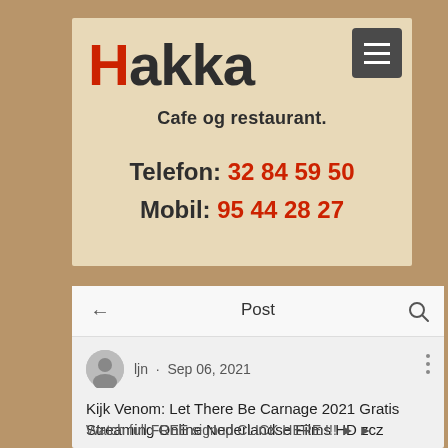Hakka Cafe og restaurant.
Telefon: 32 84 59 50
Mobil: 95 44 28 27
Post
ljn · Sep 06, 2021
Kijk Venom: Let There Be Carnage 2021 Gratis Streaming Online Nederlandse Films HD zcz
Watch full FREE signup CLICK HERE !!! ► ►